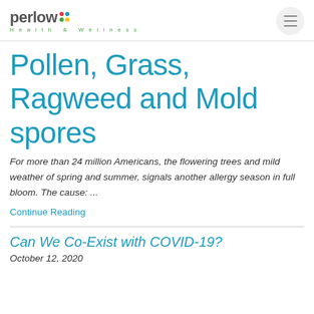perlow Health & Wellness
Pollen, Grass, Ragweed and Mold spores
For more than 24 million Americans, the flowering trees and mild weather of spring and summer, signals another allergy season in full bloom. The cause: ...
Continue Reading
Can We Co-Exist with COVID-19?
October 12, 2020